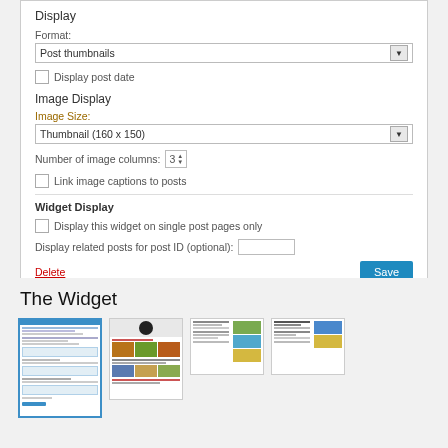Display
Format:
[Figure (screenshot): Dropdown select box showing 'Post thumbnails']
Display post date (checkbox, unchecked)
Image Display
Image Size:
[Figure (screenshot): Dropdown select box showing 'Thumbnail (160 x 150)']
Number of image columns: 3
Link image captions to posts (checkbox, unchecked)
Widget Display
Display this widget on single post pages only (checkbox, unchecked)
Display related posts for post ID (optional):
Delete
Save
The Widget
[Figure (screenshot): Four screenshots showing the WordPress widget configuration panel and related posts widget output on various post pages]